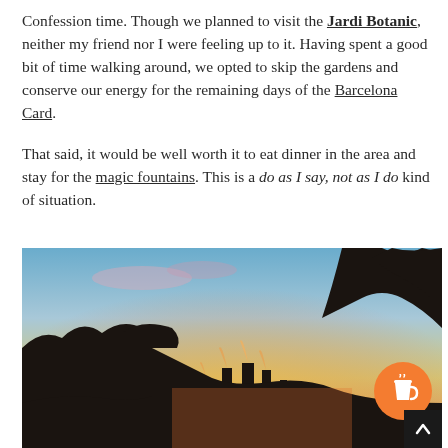Confession time. Though we planned to visit the Jardi Botanic, neither my friend nor I were feeling up to it. Having spent a good bit of time walking around, we opted to skip the gardens and conserve our energy for the remaining days of the Barcelona Card.
That said, it would be well worth it to eat dinner in the area and stay for the magic fountains. This is a do as I say, not as I do kind of situation.
[Figure (photo): Outdoor photo at sunset/dusk showing silhouettes of trees and what appears to be the Magic Fountain of Montjuic in Barcelona, with a warm orange and teal sky. A coffee cup icon button (orange circle) and an up-arrow scroll button (black square) are overlaid in the bottom-right corner.]